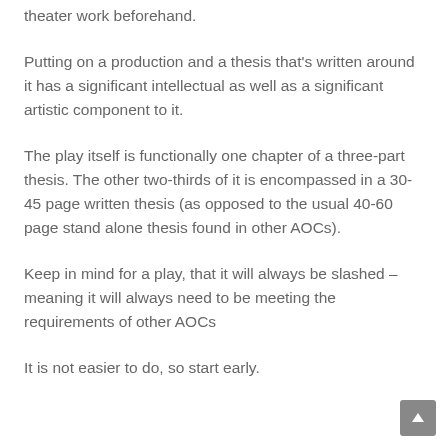theater work beforehand.
Putting on a production and a thesis that's written around it has a significant intellectual as well as a significant artistic component to it.
The play itself is functionally one chapter of a three-part thesis. The other two-thirds of it is encompassed in a 30-45 page written thesis (as opposed to the usual 40-60 page stand alone thesis found in other AOCs).
Keep in mind for a play, that it will always be slashed – meaning it will always need to be meeting the requirements of other AOCs
It is not easier to do, so start early.